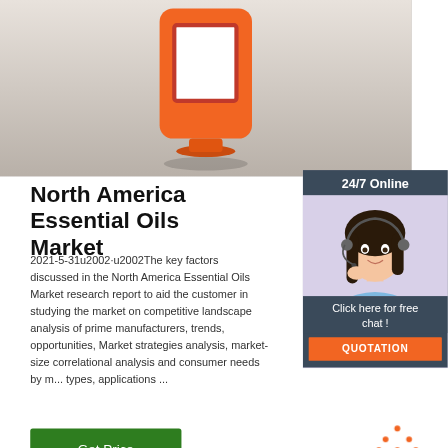[Figure (photo): Top portion of page showing an orange device/tablet product with a white screen bordered in red, on a light gray background]
North America Essential Oils Market
2021-5-31u2002·u2002The key factors discussed in the North America Essential Oils Market research report to aid the customer in studying the market on competitive landscape analysis of prime manufacturers, trends, opportunities, Market strategies analysis, market-size correlational analysis and consumer needs by m... types, applications ...
[Figure (photo): 24/7 Online panel with a woman wearing a headset (customer service agent) on a dark blue-gray background, with 'Click here for free chat!' text and an orange QUOTATION button]
[Figure (logo): Orange TOP logo with dotted triangle above the word TOP in orange text]
[Figure (photo): Bottom dark strip showing beginning of another image/photo]